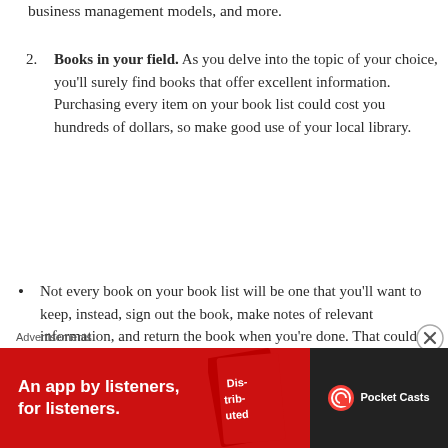business management models, and more.
Books in your field. As you delve into the topic of your choice, you'll surely find books that offer excellent information. Purchasing every item on your book list could cost you hundreds of dollars, so make good use of your local library.
Not every book on your book list will be one that you'll want to keep, instead, sign out the book, make notes of relevant information, and return the book when you're done. That could be one less book gathering dust on your shelves.
Save your money for books that you'll use frequently as reference.
Advertisements
[Figure (infographic): Red advertisement banner for Pocket Casts app: 'An app by listeners, for listeners.' with Pocket Casts logo on dark background.]